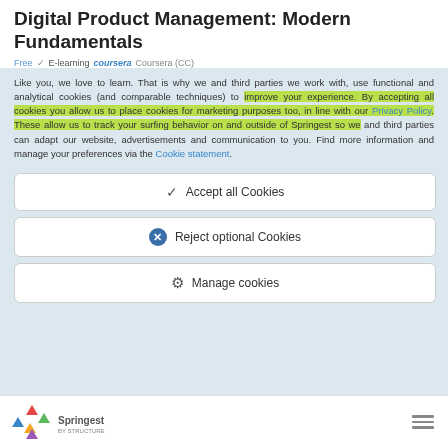Digital Product Management: Modern Fundamentals
Free  E-learning  Coursera  Coursera (CC)
Like you, we love to learn. That is why we and third parties we work with, use functional and analytical cookies (and comparable techniques) to improve your experience. By accepting all cookies you allow us to place cookies for marketing purposes too, in line with our Privacy Policy. These allow us to track your surfing behavior on and outside of Springest so we and third parties can adapt our website, advertisements and communication to you. Find more information and manage your preferences via the Cookie statement.
✓ Accept all Cookies
✕ Reject optional Cookies
⚙ Manage cookies
Springest by STRUCTURE